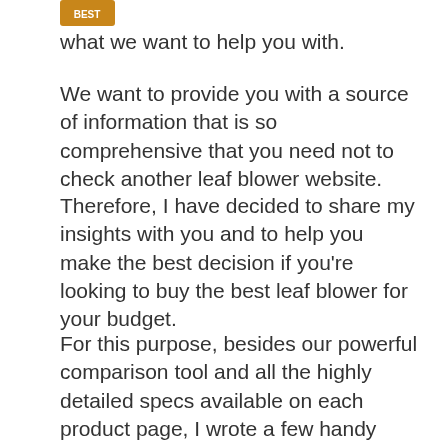[Figure (illustration): Small brown icon/logo image at top left]
what we want to help you with.
We want to provide you with a source of information that is so comprehensive that you need not to check another leaf blower website.
Therefore, I have decided to share my insights with you and to help you make the best decision if you're looking to buy the best leaf blower for your budget.
For this purpose, besides our powerful comparison tool and all the highly detailed specs available on each product page, I wrote a few handy guides that you can access from the website menu.